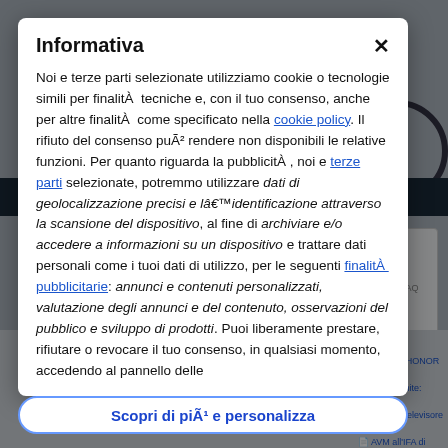Informativa
Noi e terze parti selezionate utilizziamo cookie o tecnologie simili per finalitÀ  tecniche e, con il tuo consenso, anche per altre finalitÀ  come specificato nella cookie policy. Il rifiuto del consenso puÃ² rendere non disponibili le relative funzioni. Per quanto riguarda la pubblicitÀ , noi e terze parti selezionate, potremmo utilizzare dati di geolocalizzazione precisi e lâ€™identificazione attraverso la scansione del dispositivo, al fine di archiviare e/o accedere a informazioni su un dispositivo e trattare dati personali come i tuoi dati di utilizzo, per le seguenti finalitÀ  pubblicitarie: annunci e contenuti personalizzati, valutazione degli annunci e del contenuto, osservazioni del pubblico e sviluppo di prodotti. Puoi liberamente prestare, rifiutare o revocare il tuo consenso, in qualsiasi momento, accedendo al pannello delle
Scopri di piÃ¹ e personalizza